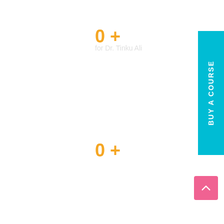0 +
for Dr. Tinku Ali
0 +
[Figure (other): BUY A COURSE button — cyan vertical tab on right side]
[Figure (other): Scroll-up button — pink square with caret/arrow icon at bottom right]